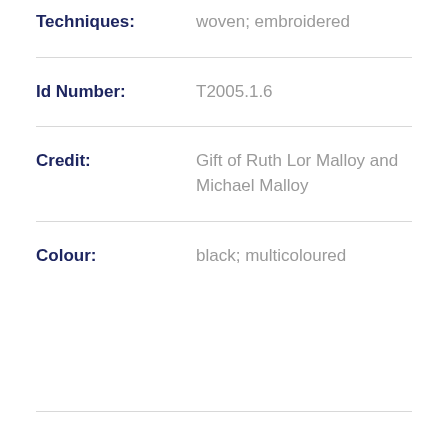Techniques: woven; embroidered
Id Number: T2005.1.6
Credit: Gift of Ruth Lor Malloy and Michael Malloy
Colour: black; multicoloured